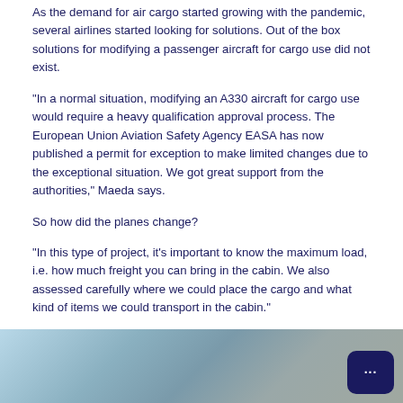As the demand for air cargo started growing with the pandemic, several airlines started looking for solutions. Out of the box solutions for modifying a passenger aircraft for cargo use did not exist.
"In a normal situation, modifying an A330 aircraft for cargo use would require a heavy qualification approval process. The European Union Aviation Safety Agency EASA has now published a permit for exception to make limited changes due to the exceptional situation. We got great support from the authorities," Maeda says.
So how did the planes change?
"In this type of project, it's important to know the maximum load, i.e. how much freight you can bring in the cabin. We also assessed carefully where we could place the cargo and what kind of items we could transport in the cabin."
In the end, Economy seats and entertainment system power cords were removed. They were replaced with nets for safely attaching the cargo.
[Figure (photo): Partial image of an aircraft interior or exterior with a gradient from light blue to grey tones, partially visible at the bottom of the page. A dark navy chat button with three dots is overlaid in the bottom-right corner.]